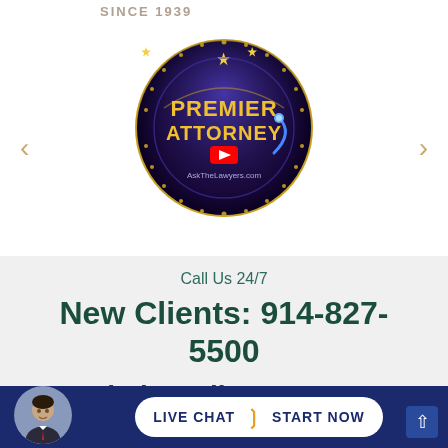SINCE 1939
[Figure (logo): Premier Attorney badge/seal from AskTheLawyers.com — circular dark badge with gold and purple design, stars, and YouTube play button icon]
Call Us 24/7
New Clients: 914-827-5500
Existing Clients: 914-
[Figure (photo): Photo of attorney in suit, circular crop, in bottom bar]
LIVE CHAT  START NOW